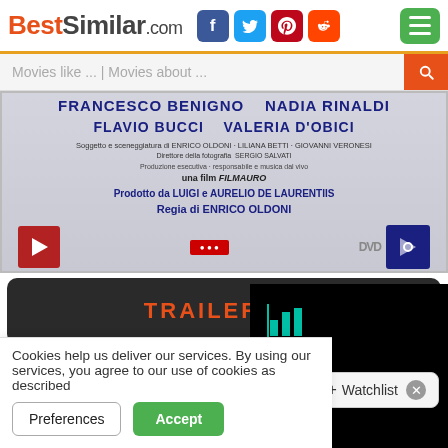BestSimilar.com
Movies like ... | Movies about ...
[Figure (photo): Movie credits image showing FRANCESCO BENIGNO, NADIA RINALDI, FLAVIO BUCCI, VALERIA D'OBICI and other production credits including FILMAURO and LUIGI e AURELIO DE LAURENTIIS, directed by ENRICO OLDONI]
TRAILER
Genre: Comedy
Country: Italy
Duration: 95 min.
Story: Scandalously famous colle...
Cookies help us deliver our services. By using our services, you agree to our use of cookies as described...
Preferences
Accept